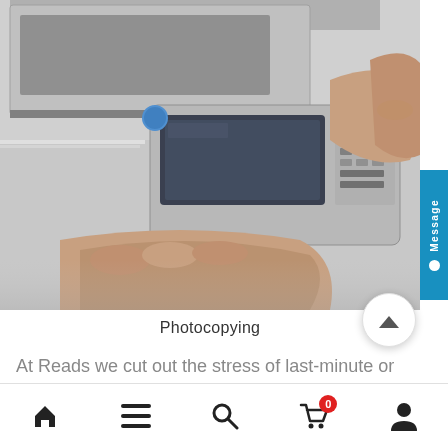[Figure (photo): Person operating a photocopier/multifunction printer, hands on the control panel and paper tray]
Photocopying
At Reads we cut out the stress of last-minute or bulk
Home | Menu | Search | Cart (0) | Account